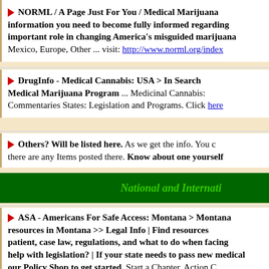NORML / A Page Just For You / Medical Marijuana information you need to become fully informed regarding important role in changing America's misguided marijuana policy. Mexico, Europe, Other ... visit: http://www.norml.org/index
DrugInfo - Medical Cannabis: USA > In Search Medical Marijuana Program ... Medicinal Cannabis: Commentaries States: Legislation and Programs. Click here
Others? Will be listed here. As we get the info. You can see if there are any Items posted there. Know about one yourself
National and Internati
ASA - Americans For Safe Access: Montana > Montana resources in Montana >> Legal Info | Find resources patient, case law, regulations, and what to do when facing arrest | help with legislation? | If your state needs to pass new medical marijuana laws, visit our Policy Shop to get started. Start a Chapter, Action C... Learn how to start your own Chapter or Action C... www.safeaccessnow.org/montana advocacy